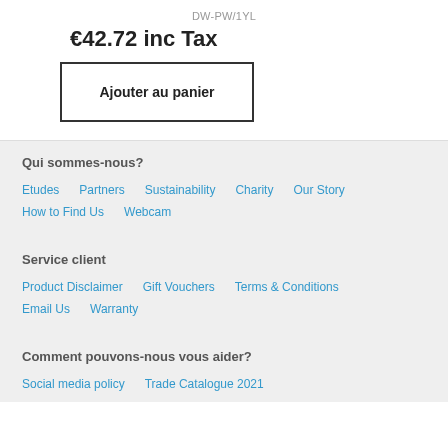DW-PW/1YL
€42.72 inc Tax
Ajouter au panier
Qui sommes-nous?
Etudes
Partners
Sustainability
Charity
Our Story
How to Find Us
Webcam
Service client
Product Disclaimer
Gift Vouchers
Terms & Conditions
Email Us
Warranty
Comment pouvons-nous vous aider?
Social media policy
Trade Catalogue 2021